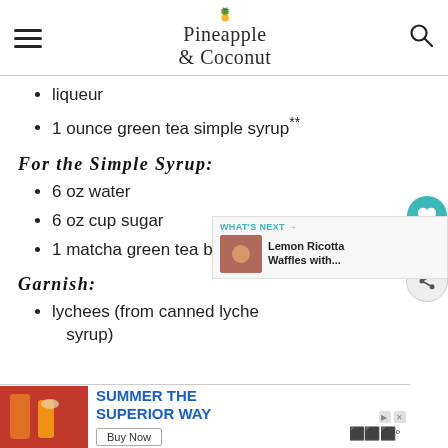Pineapple & Coconut
liqueur
1 ounce green tea simple syrup**
For the Simple Syrup:
6 oz water
6 oz cup sugar
1 matcha green tea bag
Garnish:
lychees (from canned lychees syrup)